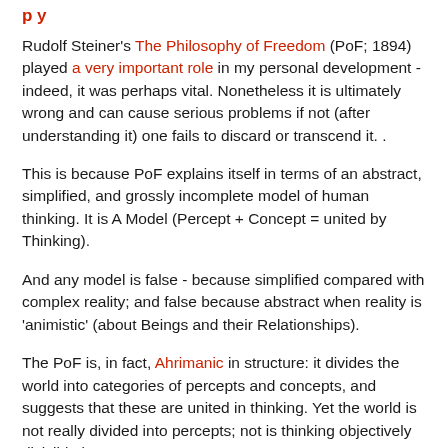Rudolf Steiner's The Philosophy of Freedom (PoF; 1894) played a very important role in my personal development - indeed, it was perhaps vital. Nonetheless it is ultimately wrong and can cause serious problems if not (after understanding it) one fails to discard or transcend it. .
This is because PoF explains itself in terms of an abstract, simplified, and grossly incomplete model of human thinking. It is A Model (Percept + Concept = united by Thinking).
And any model is false - because simplified compared with complex reality; and false because abstract when reality is 'animistic' (about Beings and their Relationships).
The PoF is, in fact, Ahrimanic in structure: it divides the world into categories of percepts and concepts, and suggests that these are united in thinking. Yet the world is not really divided into percepts; not is thinking objectively divisible into concepts.
Therefore if we begin in Ahrimanic materialist alienation; if